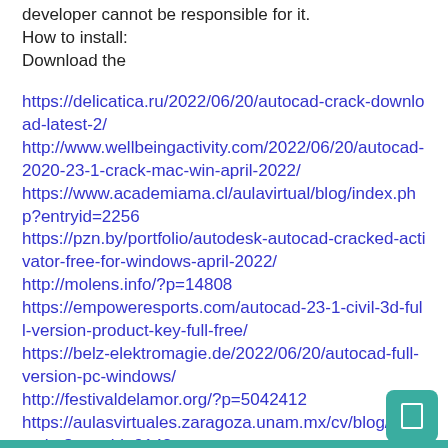developer cannot be responsible for it.
How to install:
Download the
https://delicatica.ru/2022/06/20/autocad-crack-download-latest-2/
http://www.wellbeingactivity.com/2022/06/20/autocad-2020-23-1-crack-mac-win-april-2022/
https://www.academiama.cl/aulavirtual/blog/index.php?entryid=2256
https://pzn.by/portfolio/autodesk-autocad-cracked-activator-free-for-windows-april-2022/
http://molens.info/?p=14808
https://empoweresports.com/autocad-23-1-civil-3d-full-version-product-key-full-free/
https://belz-elektromagie.de/2022/06/20/autocad-full-version-pc-windows/
http://festivaldelamor.org/?p=5042412
https://aulasvirtuales.zaragoza.unam.mx/cv/blog/index.php?entryid=9142
http://shalamonduke.com/?p=27718